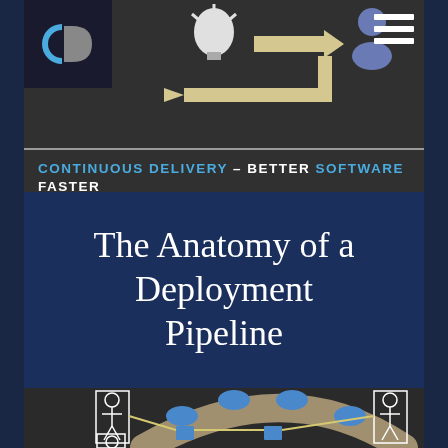[Figure (infographic): Continuous Delivery logo and feedback loop diagram with lightbulb, arrow, user icon, and return arrow on dark background. Hamburger menu in top right.]
CONTINUOUS DELIVERY – BETTER SOFTWARE FASTER
The Anatomy of a Deployment Pipeline
[Figure (flowchart): Partial deployment pipeline diagram showing stick figures connected by arrows to blue nodes/shapes in an arc formation on dark background.]